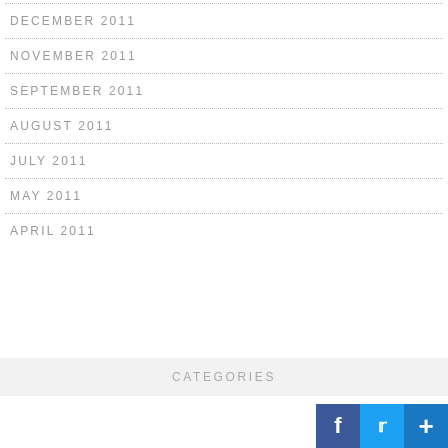DECEMBER 2011
NOVEMBER 2011
SEPTEMBER 2011
AUGUST 2011
JULY 2011
MAY 2011
APRIL 2011
CATEGORIES